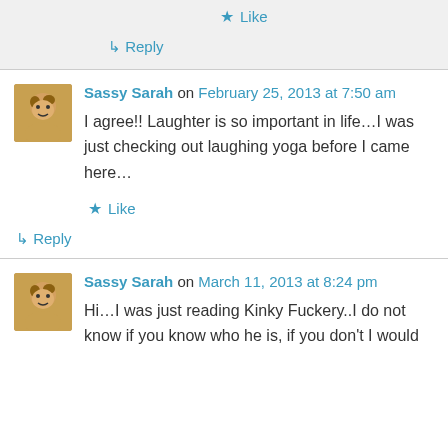★ Like
↳ Reply
Sassy Sarah on February 25, 2013 at 7:50 am
I agree!! Laughter is so important in life…I was just checking out laughing yoga before I came here…
★ Like
↳ Reply
Sassy Sarah on March 11, 2013 at 8:24 pm
Hi…I was just reading Kinky Fuckery..I do not know if you know who he is, if you don't I would